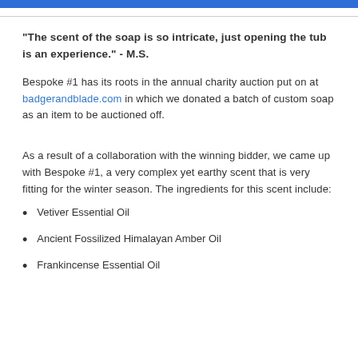"The scent of the soap is so intricate, just opening the tub is an experience." - M.S.
Bespoke #1 has its roots in the annual charity auction put on at badgerandblade.com in which we donated a batch of custom soap as an item to be auctioned off.
As a result of a collaboration with the winning bidder, we came up with Bespoke #1, a very complex yet earthy scent that is very fitting for the winter season. The ingredients for this scent include:
Vetiver Essential Oil
Ancient Fossilized Himalayan Amber Oil
Frankincense Essential Oil